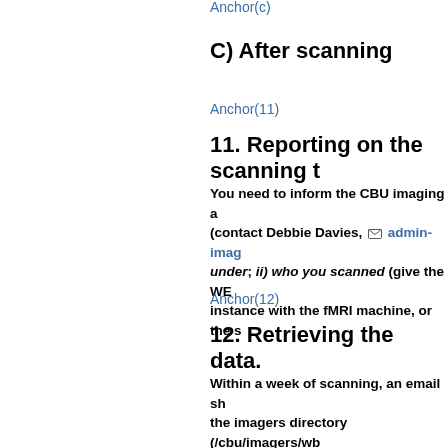Anchor(c)
C) After scanning
Anchor(11)
11. Reporting on the scanning t
You need to inform the CBU imaging a (contact Debbie Davies, admin-imag under; ii) who you scanned (give the WE instance with the fMRI machine, or the s
Anchor(12)
12. Retrieving the data.
Within a week of scanning, an email sh the imagers directory (/cbu/imagers/wb [wiki:AnalysisDefaults first preprocessi your data from the archives. If the data ( imagers-data@mrc-cbu.cam.ac.uk )
Anchor(13)
13. Sending brain picture to sub